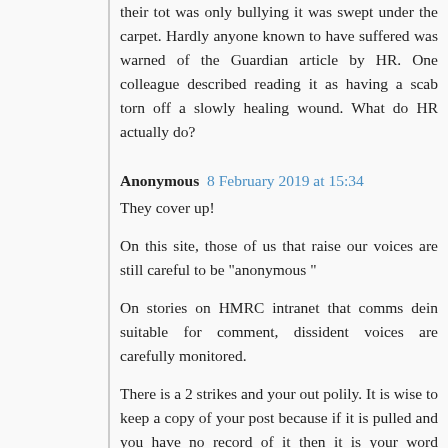their tot was only bullying it was swept under the carpet. Hardly anyone known to have suffered was warned of the Guardian article by HR. One colleague described reading it as having a scab torn off a slowly healing wound. What do HR actually do?
Anonymous 8 February 2019 at 15:34
They cover up!
On this site, those of us that raise our voices are still careful to be "anonymous "
On stories on HMRC intranet that comms dein suitable for comment, dissident voices are carefully monitored.
There is a 2 strikes and your out polily. It is wise to keep a copy of your post because if it is pulled and you have no record of it then it is your word against theirs.